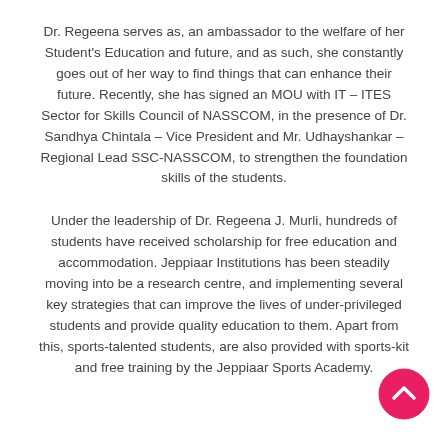Dr. Regeena serves as, an ambassador to the welfare of her Student's Education and future, and as such, she constantly goes out of her way to find things that can enhance their future. Recently, she has signed an MOU with IT – ITES Sector for Skills Council of NASSCOM, in the presence of Dr. Sandhya Chintala – Vice President and Mr. Udhayshankar – Regional Lead SSC-NASSCOM, to strengthen the foundation skills of the students.
Under the leadership of Dr. Regeena J. Murli, hundreds of students have received scholarship for free education and accommodation. Jeppiaar Institutions has been steadily moving into be a research centre, and implementing several key strategies that can improve the lives of under-privileged students and provide quality education to them. Apart from this, sports-talented students, are also provided with sports-kit and free training by the Jeppiaar Sports Academy.
[Figure (other): Pink circular scroll-to-top button with upward chevron arrow icon]